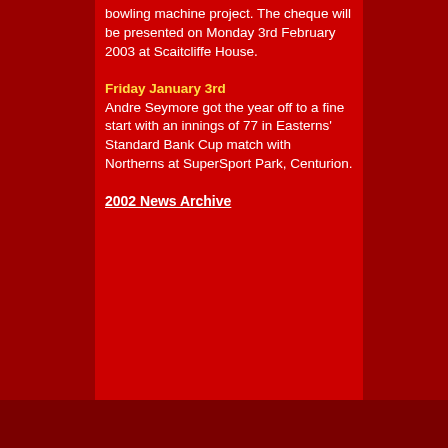bowling machine project. The cheque will be presented on Monday 3rd February 2003 at Scaitcliffe House.
Friday January 3rd
Andre Seymore got the year off to a fine start with an innings of 77 in Easterns' Standard Bank Cup match with Northerns at SuperSport Park, Centurion.
2002 News Archive